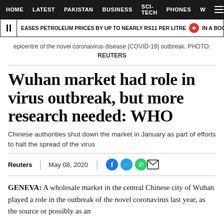HOME  LATEST  PAKISTAN  BUSINESS  SCI-TECH  PHONES  W
EASES PETROLEUM PRICES BY UP TO NEARLY RS11 PER LITRE  •  IN A BOOST TO DY
epicentre of the novel coronavirus disease (COVID-19) outbreak. PHOTO: REUTERS
Wuhan market had role in virus outbreak, but more research needed: WHO
Chinese authorities shut down the market in January as part of efforts to halt the spread of the virus
Reuters  |  May 08, 2020
GENEVA: A wholesale market in the central Chinese city of Wuhan played a role in the outbreak of the novel coronavirus last year, as the source or possibly as an